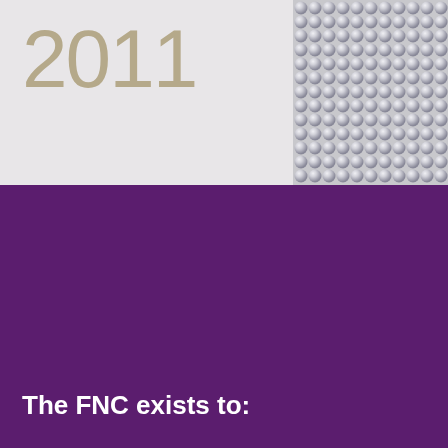2011
[Figure (photo): Close-up photograph of a modern building facade with spherical metallic/glass dots or balls arranged in a grid pattern, visible in the top-right corner of the page]
The FNC exists to:
Provide a space where people of all faiths and none can meet one another;
Resource People living in a diverse society;
Support people as they discover ways of working together to improve and strengthen their local…